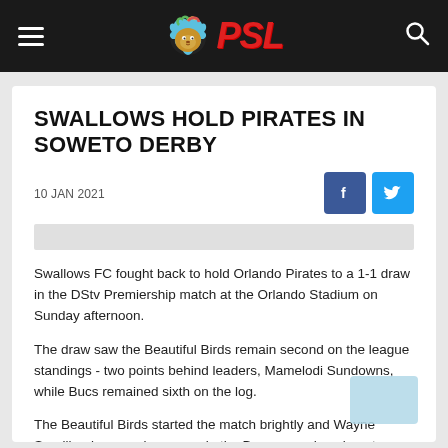PSL navigation bar with hamburger menu, PSL logo, and search icon
SWALLOWS HOLD PIRATES IN SOWETO DERBY
10 JAN 2021
[Figure (other): Image placeholder / content image strip (light gray bar)]
Swallows FC fought back to hold Orlando Pirates to a 1-1 draw in the DStv Premiership match at the Orlando Stadium on Sunday afternoon.
The draw saw the Beautiful Birds remain second on the league standings - two points behind leaders, Mamelodi Sundowns, while Bucs remained sixth on the log.
The Beautiful Birds started the match brightly and Wayne Sandilands was a busy man in the Buccaneers' goal-posts.